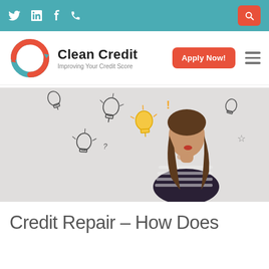Twitter | LinkedIn | Facebook | Phone | Search
[Figure (logo): Clean Credit logo — circular arrow icon in teal and red/orange, with text 'Clean Credit' and tagline 'Improving Your Credit Score']
[Figure (photo): Hero photo of a woman in a striped shirt thinking, with drawn lightbulb illustrations around her on a light gray background]
Credit Repair – How Does